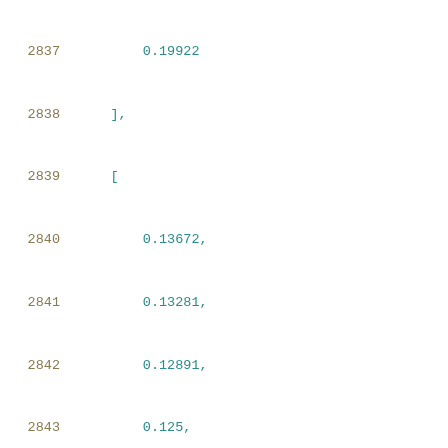2837    0.19922
2838    ],
2839    [
2840        0.13672,
2841        0.13281,
2842        0.12891,
2843        0.125,
2844        0.12891,
2845        0.14062,
2846        0.15234,
2847        0.16797,
2848        0.18359,
2849        0.19922
2850    ],
2851    [
2852        0.12891,
2853        0.125,
2854        0.12109,
2855        0.11719,
2856        0.12109,
2857        0.13281,